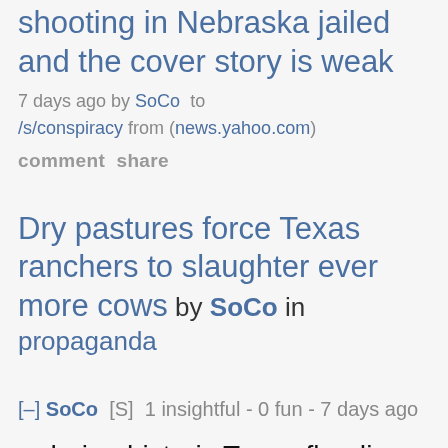shooting in Nebraska jailed and the cover story is weak
7 days ago by SoCo  to /s/conspiracy from (news.yahoo.com)
comment  share
Dry pastures force Texas ranchers to slaughter ever more cows  by SoCo  in propaganda
[–] SoCo  [S]  1 insightful - 0 fun - 7 days ago
...during historic Texan flooding.
...blaming no grass, when most cows are grain-fed.